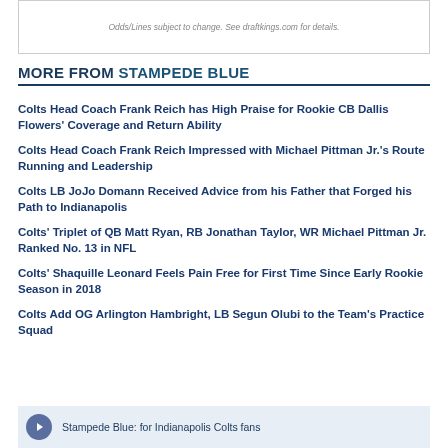Odds/Lines subject to change. See draftkings.com for details.
MORE FROM STAMPEDE BLUE
Colts Head Coach Frank Reich has High Praise for Rookie CB Dallis Flowers' Coverage and Return Ability
Colts Head Coach Frank Reich Impressed with Michael Pittman Jr.'s Route Running and Leadership
Colts LB JoJo Domann Received Advice from his Father that Forged his Path to Indianapolis
Colts' Triplet of QB Matt Ryan, RB Jonathan Taylor, WR Michael Pittman Jr. Ranked No. 13 in NFL
Colts' Shaquille Leonard Feels Pain Free for First Time Since Early Rookie Season in 2018
Colts Add OG Arlington Hambright, LB Segun Olubi to the Team's Practice Squad
Stampede Blue: for Indianapolis Colts fans